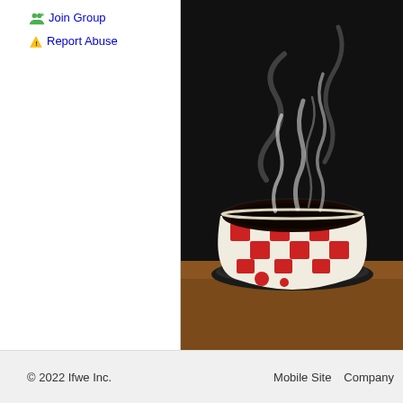Join Group
Report Abuse
[Figure (photo): A steaming hot cup of coffee in a red and white checkered ceramic bowl-style cup on a dark saucer, with visible white steam rising against a dark background.]
© 2022 Ifwe Inc.    Mobile Site    Company